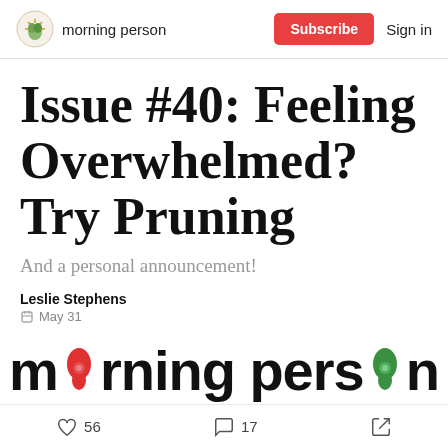morning person | Subscribe | Sign in
Issue #40: Feeling Overwhelmed? Try Pruning
And a personal announcement!
Leslie Stephens
May 31
[Figure (logo): morning person newsletter banner logo with flower decorations]
56 likes  17 comments  share